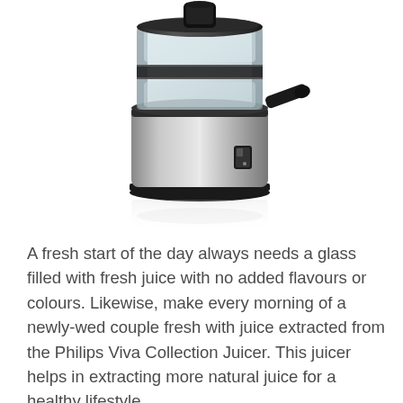[Figure (photo): A Philips Viva Collection Juicer — stainless steel and black body with a clear plastic top compartment, a side spout handle in black, and a control button on the front. A faint reflection is visible beneath the juicer against a white background.]
A fresh start of the day always needs a glass filled with fresh juice with no added flavours or colours. Likewise, make every morning of a newly-wed couple fresh with juice extracted from the Philips Viva Collection Juicer. This juicer helps in extracting more natural juice for a healthy lifestyle